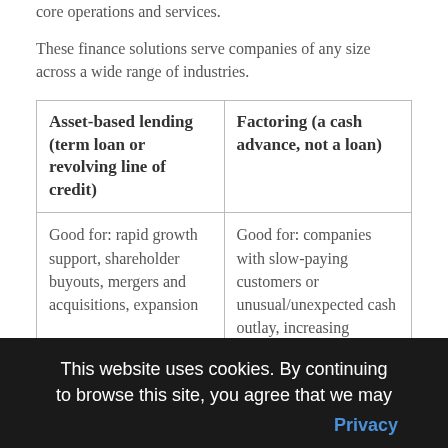core operations and services.
These finance solutions serve companies of any size across a wide range of industries.
| Asset-based lending (term loan or revolving line of credit) | Factoring (a cash advance, not a loan) |
| --- | --- |
| Good for: rapid growth support, shareholder buyouts, mergers and acquisitions, expansion | Good for: companies with slow-paying customers or unusual/unexpected cash outlay, increasing inventory, taking advantage of trade |
This website uses cookies. By continuing to browse this site, you agree that we may
Privacy